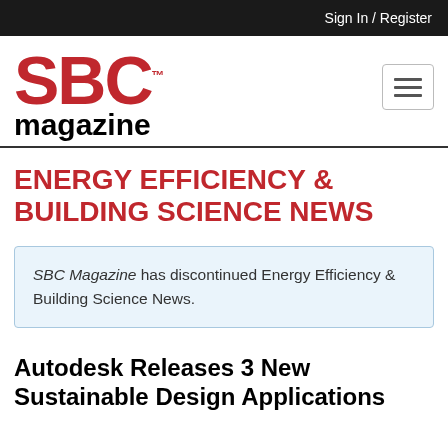Sign In / Register
[Figure (logo): SBC Magazine logo with red SBC text and black magazine text]
ENERGY EFFICIENCY & BUILDING SCIENCE NEWS
SBC Magazine has discontinued Energy Efficiency & Building Science News.
Autodesk Releases 3 New Sustainable Design Applications